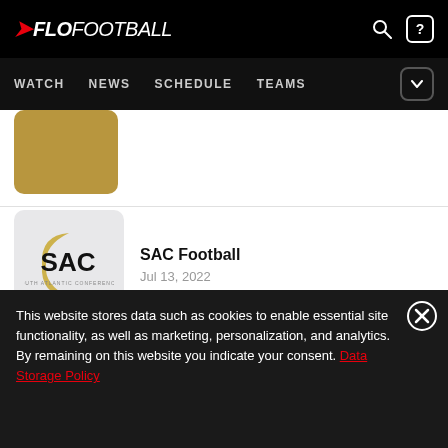FLOFOOTBALL
WATCH  NEWS  SCHEDULE  TEAMS
[Figure (other): Gold/tan colored thumbnail image placeholder]
[Figure (logo): SAC (South Atlantic Conference) logo on gray background]
SAC Football
Jul 13, 2022
[Figure (other): Partially visible light gray thumbnail]
2022 Freedom Bowl
This website stores data such as cookies to enable essential site functionality, as well as marketing, personalization, and analytics. By remaining on this website you indicate your consent. Data Storage Policy